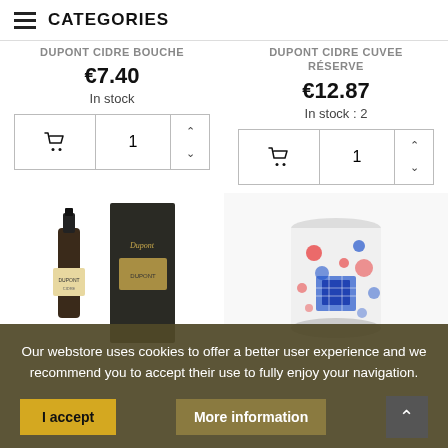CATEGORIES
DUPONT CIDRE BOUCHE
€7.40
In stock
DUPONT CIDRE CUVEE RÉSERVE
€12.87
In stock : 2
[Figure (photo): Dupont cidre bottle with box packaging]
[Figure (photo): Colorful decorated can/tin with blue and red design]
Our webstore uses cookies to offer a better user experience and we recommend you to accept their use to fully enjoy your navigation.